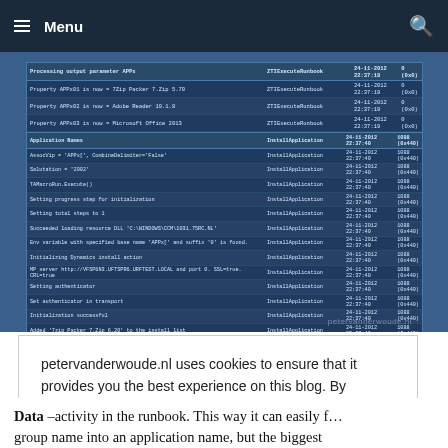Menu
[Figure (screenshot): Screenshot of a blue log/activity table showing application installation log entries with columns for message, component, timestamp, and thread. Two separate log table sections are visible with entries about Processing output parameter APPx, Property APPx01/02/03, Application Names, installation steps, and various application additions.]
petervanderwoude.nl uses cookies to ensure that it provides you the best experience on this blog. By continuing to use this blog, you agree to their use. To find out more, including how to control cookies, see here: Cookie policy
Close and accept
Data –activity in the runbook. This way it can easily f… group name into an application name, but the biggest